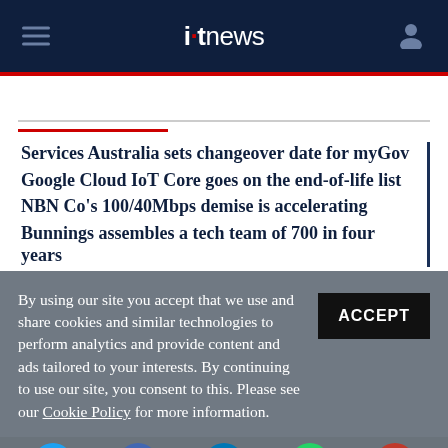itnews
Services Australia sets changeover date for myGov
Google Cloud IoT Core goes on the end-of-life list
NBN Co's 100/40Mbps demise is accelerating
Bunnings assembles a tech team of 700 in four years
By using our site you accept that we use and share cookies and similar technologies to perform analytics and provide content and ads tailored to your interests. By continuing to use our site, you consent to this. Please see our Cookie Policy for more information.